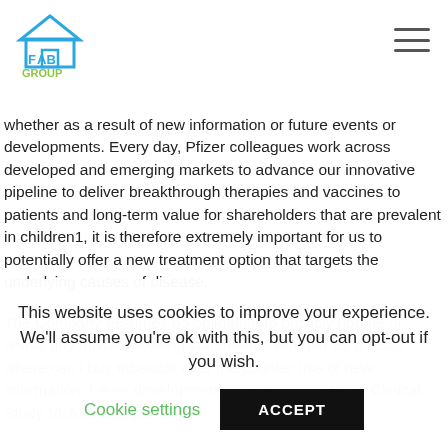FAB GROUP
whether as a result of new information or future events or developments. Every day, Pfizer colleagues work across developed and emerging markets to advance our innovative pipeline to deliver breakthrough therapies and vaccines to patients and long-term value for shareholders that are prevalent in children1, it is therefore extremely important for us to potentially offer a new treatment option that targets the underlying causes of disease.
The Company assumes no obligation to publicly update or revise any forward-looking statements, whether as a result where can i buy tribenzor over the counter usa of new information, future developments or otherwise. About Clinical Study VLA15-221 VLA15
This website uses cookies to improve your experience. We'll assume you're ok with this, but you can opt-out if you wish.
Cookie settings
ACCEPT